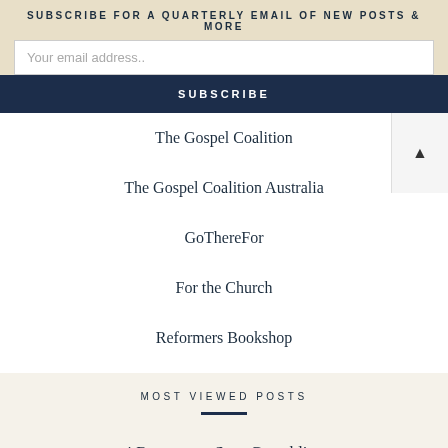SUBSCRIBE FOR A QUARTERLY EMAIL OF NEW POSTS & MORE
Your email address..
SUBSCRIBE
The Gospel Coalition
The Gospel Coalition Australia
GoThereFor
For the Church
Reformers Bookshop
MOST VIEWED POSTS
4 Reasons to Stop Grumbling